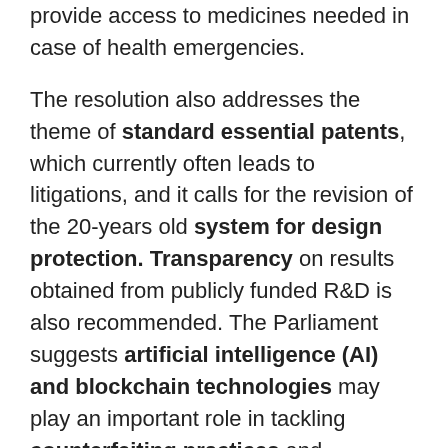provide access to medicines needed in case of health emergencies.
The resolution also addresses the theme of standard essential patents, which currently often leads to litigations, and it calls for the revision of the 20-years old system for design protection. Transparency on results obtained from publicly funded R&D is also recommended. The Parliament suggests artificial intelligence (AI) and blockchain technologies may play an important role in tackling counterfeiting practices and guarantee traceability of goods, as they may contribute to a better enforcement of intellectual